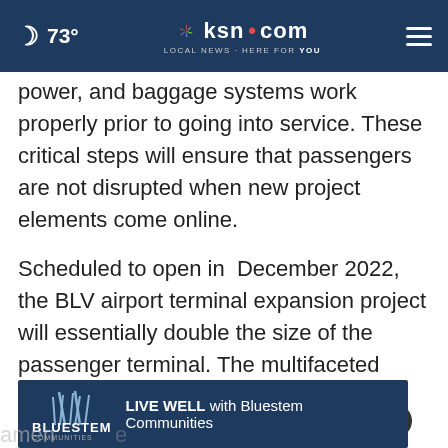🌙 73° | ksn.com LOCAL NEWS·HERE FOR YOU | ≡
power, and baggage systems work properly prior to going into service. These critical steps will ensure that passengers are not disrupted when new project elements come online.
Scheduled to open in  December 2022, the BLV airport terminal expansion project will essentially double the size of the passenger terminal. The multifaceted program will expand gate hold areas, relocate the security checkpoints, and include additional passenger amenities...
[Figure (screenshot): Advertisement banner: Bluestem Communities - LIVE WELL with Bluestem Communities, with close (x) button]